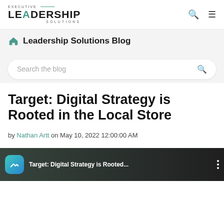EXECUTIVE LEADERSHIP SOLUTIONS
Leadership Solutions Blog
Search the blog
Target: Digital Strategy is Rooted in the Local Store
by Nathan Artt on May 10, 2022 12:00:00 AM
[Figure (screenshot): Thumbnail image showing text 'Target: Digital Strategy is Rooted...' with a teal/blue app icon badge on the left and a three-dot menu on the right, over a dark background.]